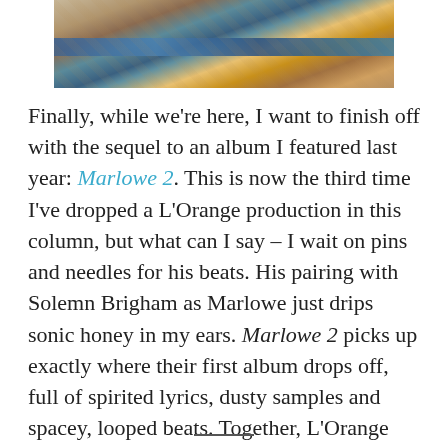[Figure (photo): Partial top image showing colorful abstract or artistic photograph with blue stripe across the middle, appearing to be a cropped bottom portion of a larger image.]
Finally, while we're here, I want to finish off with the sequel to an album I featured last year: Marlowe 2. This is now the third time I've dropped a L'Orange production in this column, but what can I say – I wait on pins and needles for his beats. His pairing with Solemn Brigham as Marlowe just drips sonic honey in my ears. Marlowe 2 picks up exactly where their first album drops off, full of spirited lyrics, dusty samples and spacey, looped beats. Together, L'Orange and Brigham maintain a crackling, kinetic energy that echoes early 2000s era indie hip hop, but still feels fresh.